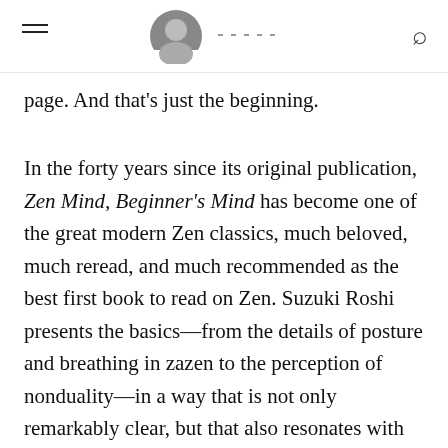[navigation header with hamburger menu, avatar, and search icon]
page. And that's just the beginning.
In the forty years since its original publication, Zen Mind, Beginner's Mind has become one of the great modern Zen classics, much beloved, much reread, and much recommended as the best first book to read on Zen. Suzuki Roshi presents the basics—from the details of posture and breathing in zazen to the perception of nonduality—in a way that is not only remarkably clear, but that also resonates with the joy of insight from the first to the last page. It's a book to come back to time and time again as an inspiration to practice, and it is now available to a new generation of seekers in this fortieth